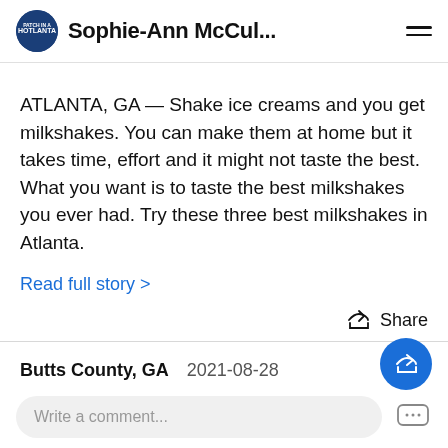Sophie-Ann McCul...
ATLANTA, GA — Shake ice creams and you get milkshakes. You can make them at home but it takes time, effort and it might not taste the best. What you want is to taste the best milkshakes you ever had. Try these three best milkshakes in Atlanta.
Read full story >
Share
Butts County, GA   2021-08-28
Write a comment...